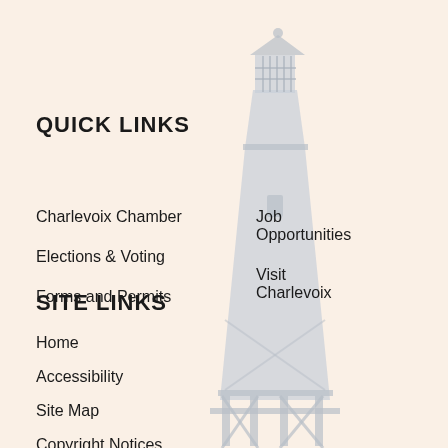[Figure (illustration): Faded gray lighthouse silhouette on a warm cream/beige background, centered toward the right side of the page]
QUICK LINKS
Charlevoix Chamber
Job Opportunities
Elections & Voting
Visit Charlevoix
Forms and Permits
SITE LINKS
Home
Accessibility
Site Map
Copyright Notices